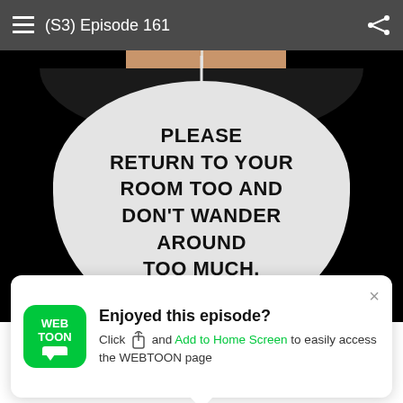(S3) Episode 161
[Figure (illustration): Webtoon comic panel showing a dark-clothed figure from torso down against a black background, with a large speech bubble containing text]
PLEASE RETURN TO YOUR ROOM TOO AND DON'T WANDER AROUND TOO MUCH.
[Figure (other): WiFi icon with exclamation mark warning indicator]
Enjoyed this episode? Click and Add to Home Screen to easily access the WEBTOON page